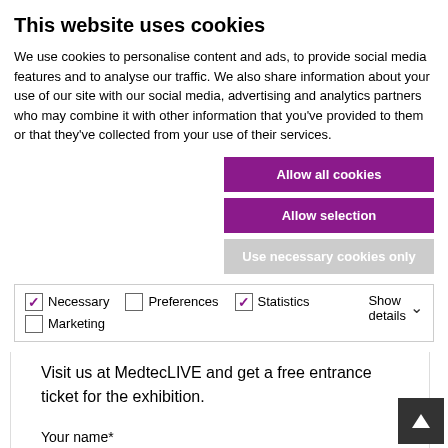This website uses cookies
We use cookies to personalise content and ads, to provide social media features and to analyse our traffic. We also share information about your use of our site with our social media, advertising and analytics partners who may combine it with other information that you've provided to them or that they've collected from your use of their services.
Allow all cookies
Allow selection
Use necessary cookies only
Necessary  Preferences  Statistics  Marketing  Show details
Visit us at booth 10.0-344
Visit us at MedtecLIVE and get a free entrance ticket for the exhibition.
Your name*
Your company*